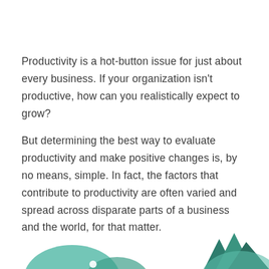Productivity is a hot-button issue for just about every business. If your organization isn't productive, how can you realistically expect to grow?
But determining the best way to evaluate productivity and make positive changes is, by no means, simple. In fact, the factors that contribute to productivity are often varied and spread across disparate parts of a business and the world, for that matter.
[Figure (illustration): Decorative teal/green leaf or plant shapes at the bottom of the page, partially cropped]